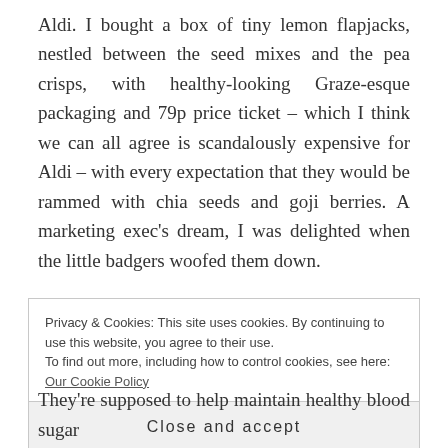Aldi. I bought a box of tiny lemon flapjacks, nestled between the seed mixes and the pea crisps, with healthy-looking Graze-esque packaging and 79p price ticket – which I think we can all agree is scandalously expensive for Aldi – with every expectation that they would be rammed with chia seeds and goji berries. A marketing exec's dream, I was delighted when the little badgers woofed them down.

Later, upon locating my glasses, my failing eyes were able to discern the fact that they were actually just
Privacy & Cookies: This site uses cookies. By continuing to use this website, you agree to their use.
To find out more, including how to control cookies, see here: Our Cookie Policy
Close and accept
They're supposed to help maintain healthy blood sugar